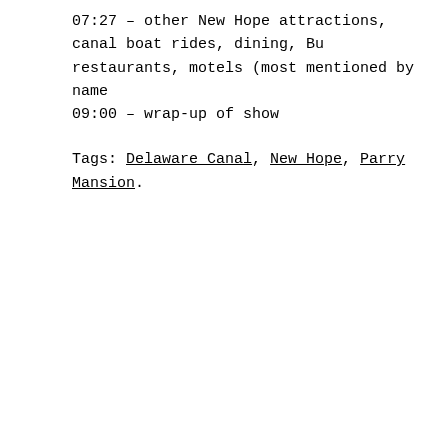07:27 – other New Hope attractions, canal boat rides, dining, Bu restaurants, motels (most mentioned by name
09:00 – wrap-up of show
Tags: Delaware Canal, New Hope, Parry Mansion.